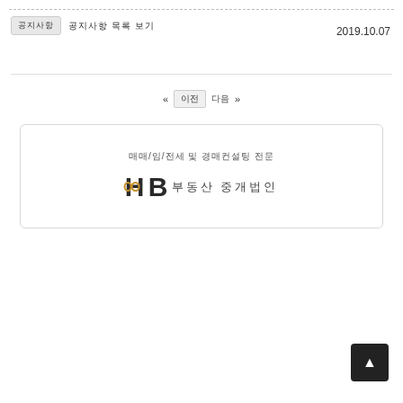공지사항 | 공지사항 목록 보기
2019.10.07
« 이전  다음 »
[Figure (other): Card box containing HB logo with chain link icon and Korean text label]
[Figure (other): Back to top button (dark square with up arrow)]